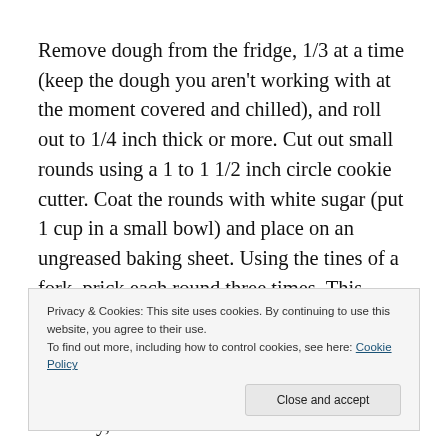Remove dough from the fridge, 1/3 at a time (keep the dough you aren't working with at the moment covered and chilled), and roll out to 1/4 inch thick or more. Cut out small rounds using a 1 to 1 1/2 inch circle cookie cutter. Coat the rounds with white sugar (put 1 cup in a small bowl) and place on an ungreased baking sheet. Using the tines of a fork, prick each round three times. This releases
Privacy & Cookies: This site uses cookies. By continuing to use this website, you agree to their use.
To find out more, including how to control cookies, see here: Cookie Policy
together in a small bowl. If the mixture is crumbly, add in a